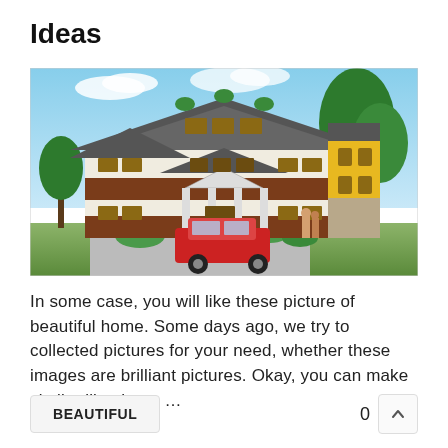Ideas
[Figure (photo): Exterior render of a large two-storey Indian-style house with brown brick accents, white facade, yellow tower section, grey roof, red car parked in front, palm trees on the right, blue sky background.]
In some case, you will like these picture of beautiful home. Some days ago, we try to collected pictures for your need, whether these images are brilliant pictures. Okay, you can make similar like them. …
BEAUTIFUL   0  ∧